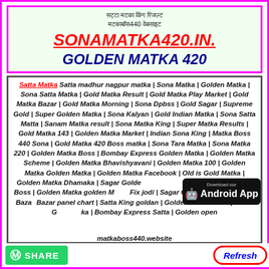सट्टा मटका किंग रिजल्ट मटकाबॉस440 वेबसाइट
SONAMATKA420.IN.
GOLDEN MATKA 420
Satta Matka Satta madhur nagpur matka | Sona Matka | Golden Matka | Sona Satta Matka | Gold Matka Result | Gold Matka Play Market | Gold Matka Bazar | Gold Matka Morning | Sona Dpbss | Gold Sagar | Supreme Gold | Super Golden Matka | Sona Kalyan | Gold Indian Matka | Sona Satta Matta | Sanam Matka result | Sona Matka King | Super Matka Results | Gold Matka 143 | Golden Matka Market | Indian Sona King | Matka Boss 440 Sona | Gold Matka 420 Boss matka | Sona Tara Matka | Sona Matka 220 | Golden Matka Boss | Bombay Express Golden Matka | Golden Matka Scheme | Golden Matka Bhavishyavani | Golden Matka 100 | Golden Matka Golden Matka | Golden Matka Facebook | Old is Gold Matka | Golden Matka Dhamaka | Sagar Golden chart | New Golden Sagar Matka Boss | Golden Matka golden Matka Fix jodi | Sagar Golden result | Golden Bazar Bazar panel chart | Satta King goldan | Golden Matka Boss | Old is Gold Matka | Bombay Express Satta | Golden open matkaboss440.website
[Figure (screenshot): Download our Android App button badge]
SHARE
Refresh